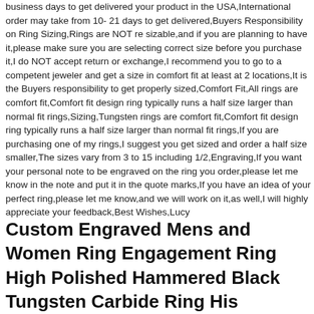business days to get delivered your product in the USA,International order may take from 10- 21 days to get delivered,Buyers Responsibility on Ring Sizing,Rings are NOT re sizable,and if you are planning to have it,please make sure you are selecting correct size before you purchase it,I do NOT accept return or exchange,I recommend you to go to a competent jeweler and get a size in comfort fit at least at 2 locations,It is the Buyers responsibility to get properly sized,Comfort Fit,All rings are comfort fit,Comfort fit design ring typically runs a half size larger than normal fit rings,Sizing,Tungsten rings are comfort fit,Comfort fit design ring typically runs a half size larger than normal fit rings,If you are purchasing one of my rings,I suggest you get sized and order a half size smaller,The sizes vary from 3 to 15 including 1/2,Engraving,If you want your personal note to be engraved on the ring you order,please let me know in the note and put it in the quote marks,If you have an idea of your perfect ring,please let me know,and we will work on it,as well,I will highly appreciate your feedback,Best Wishes,Lucy
Custom Engraved Mens and Women Ring Engagement Ring High Polished Hammered Black Tungsten Carbide Ring His Promise Ring Mountains Ring